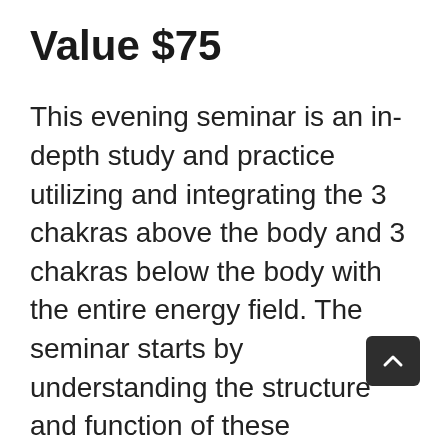Value $75
This evening seminar is an in-depth study and practice utilizing and integrating the 3 chakras above the body and 3 chakras below the body with the entire energy field. The seminar starts by understanding the structure and function of these transpersonal energy centers and how they relate to the energy centers found within the physical body. Next, we will learn an advanced energy practices that utilize these transpersonal chakras: the Vesica Piscis Meditation